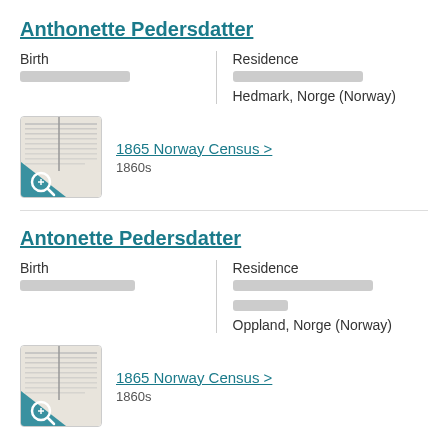Anthonette Pedersdatter
Birth
Residence
Hedmark, Norge (Norway)
[Figure (photo): Thumbnail image of 1865 Norway Census document record]
1865 Norway Census >
1860s
Antonette Pedersdatter
Birth
Residence
Oppland, Norge (Norway)
[Figure (photo): Thumbnail image of 1865 Norway Census document record]
1865 Norway Census >
1860s